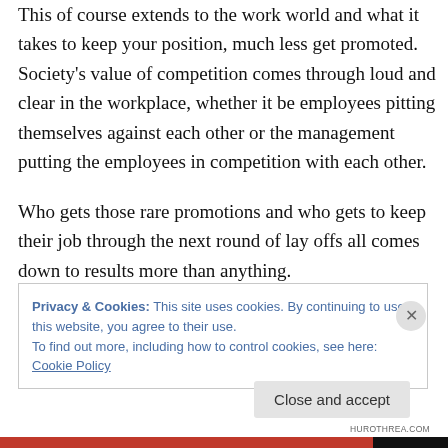This of course extends to the work world and what it takes to keep your position, much less get promoted. Society's value of competition comes through loud and clear in the workplace, whether it be employees pitting themselves against each other or the management putting the employees in competition with each other.
Who gets those rare promotions and who gets to keep their job through the next round of lay offs all comes down to results more than anything.
Privacy & Cookies: This site uses cookies. By continuing to use this website, you agree to their use.
To find out more, including how to control cookies, see here: Cookie Policy
Close and accept